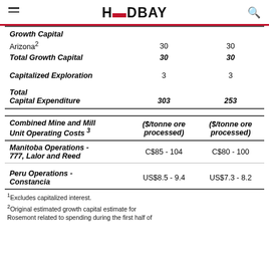HUDBAY
|  |  |  |
| --- | --- | --- |
| Growth Capital |  |  |
| Arizona² | 30 | 30 |
| Total Growth Capital | 30 | 30 |
| Capitalized Exploration | 3 | 3 |
| Total Capital Expenditure | 303 | 253 |
| Combined Mine and Mill Unit Operating Costs ³ | ($/tonne ore processed) | ($/tonne ore processed) |
| Manitoba Operations - 777, Lalor and Reed | C$85 - 104 | C$80 - 100 |
| Peru Operations - Constancia | US$8.5 - 9.4 | US$7.3 - 8.2 |
¹Excludes capitalized interest.
²Original estimated growth capital estimate for Rosemont related to spending during the first half of